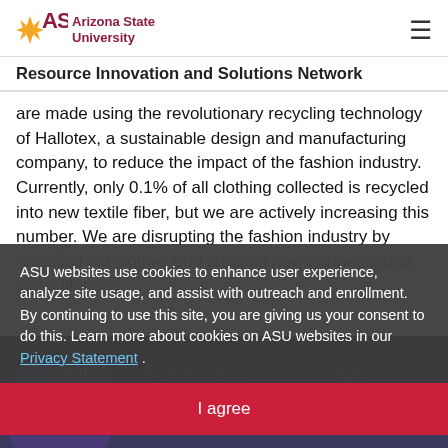[Figure (logo): Arizona State University logo with ASU text and sunburst icon in maroon]
Resource Innovation and Solutions Network
are made using the revolutionary recycling technology of Hallotex, a sustainable design and manufacturing company, to reduce the impact of the fashion industry. Currently, only 0.1% of all clothing collected is recycled into new textile fiber, but we are actively increasing this number. We are disrupting the fashion industry by recycling old clothes and creating new garments that last a lifetime.
ASU websites use cookies to enhance user experience, analyze site usage, and assist with outreach and enrollment. By continuing to use this site, you are giving us your consent to do this. Learn more about cookies on ASU websites in our Privacy Statement .
I agree
[Figure (illustration): Background image showing MATERIAL MIND text watermark over dark background with colorful circular design elements]